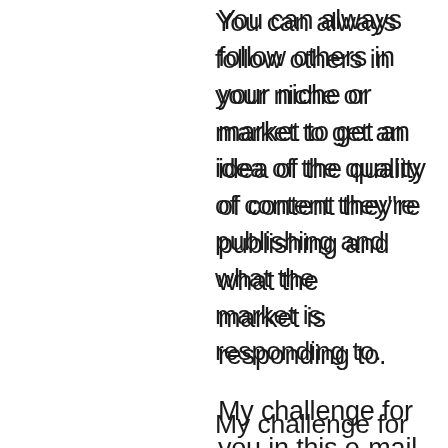You can always follow others in your niche or market to get an idea of the quality of content they're publishing and what the market is responding to.
My challenge for you in this e-mail is to UP YOUR GAME when it comes to your content creation.
Find ways you can make your content better, become faster at creating it, and be able to